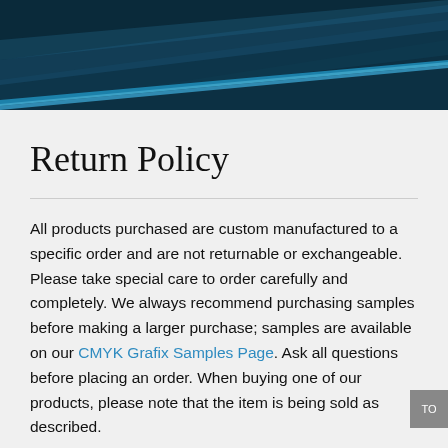[Figure (illustration): Dark blue/teal decorative header banner with diagonal wave/stripe design in lighter blue tones]
Return Policy
All products purchased are custom manufactured to a specific order and are not returnable or exchangeable. Please take special care to order carefully and completely. We always recommend purchasing samples before making a larger purchase; samples are available on our CMYK Grafix Samples Page. Ask all questions before placing an order. When buying one of our products, please note that the item is being sold as described.